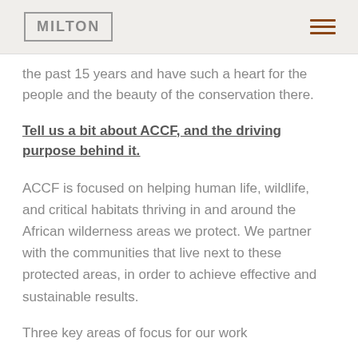MILTON
the past 15 years and have such a heart for the people and the beauty of the conservation there.
Tell us a bit about ACCF, and the driving purpose behind it.
ACCF is focused on helping human life, wildlife, and critical habitats thriving in and around the African wilderness areas we protect. We partner with the communities that live next to these protected areas, in order to achieve effective and sustainable results.
Three key areas of focus for our work